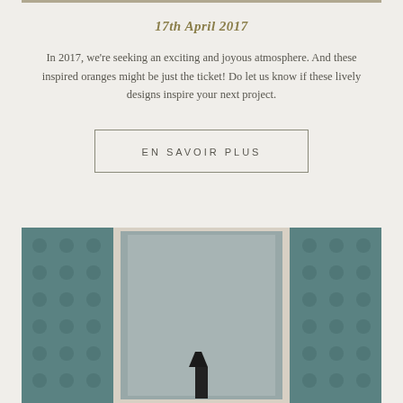17th April 2017
In 2017, we're seeking an exciting and joyous atmosphere. And these inspired oranges might be just the ticket! Do let us know if these lively designs inspire your next project.
EN SAVOIR PLUS
[Figure (photo): A room interior showing teal/green patterned wallpaper on both sides with a large ornate white-framed mirror in the center and a dark lamp visible at the bottom of the mirror reflection.]